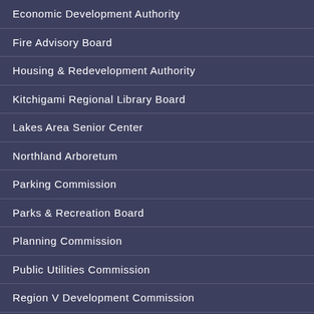Economic Development Authority
Fire Advisory Board
Housing & Redevelopment Authority
Kitchigami Regional Library Board
Lakes Area Senior Center
Northland Arboretum
Parking Commission
Parks & Recreation Board
Planning Commission
Public Utilities Commission
Region V Development Commission